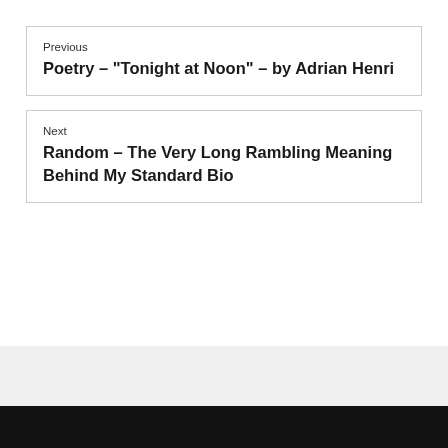Previous
Poetry – “Tonight at Noon” – by Adrian Henri
Next
Random – The Very Long Rambling Meaning Behind My Standard Bio
Theme: Writ by Gaurav Tiwari